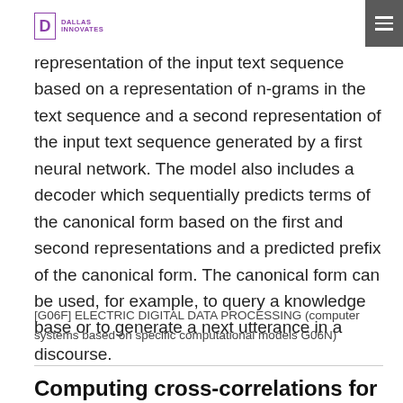DALLAS INNOVATES
representation of the input text sequence based on a representation of n-grams in the text sequence and a second representation of the input text sequence generated by a first neural network. The model also includes a decoder which sequentially predicts terms of the canonical form based on the first and second representations and a predicted prefix of the canonical form. The canonical form can be used, for example, to query a knowledge base or to generate a next utterance in a discourse.
[G06F] ELECTRIC DIGITAL DATA PROCESSING (computer systems based on specific computational models G06N)
Computing cross-correlations for